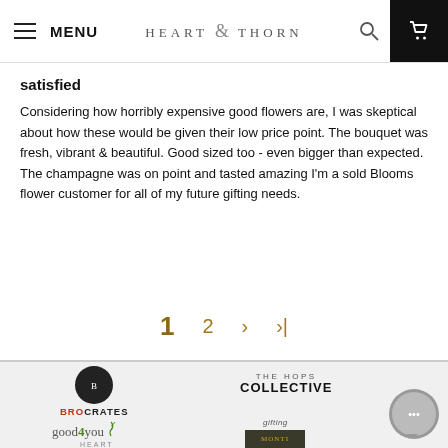MENU  HEART & THORN
satisfied
Considering how horribly expensive good flowers are, I was skeptical about how these would be given their low price point. The bouquet was fresh, vibrant & beautiful. Good sized too - even bigger than expected. The champagne was on point and tasted amazing I'm a sold Blooms flower customer for all of my future gifting needs.
1  2  >  >|
[Figure (logo): Partner brand logos: Brocrates, The Hops Collective, good4you, Kosher Gifting, Heart & (partial), Monti (partial)]